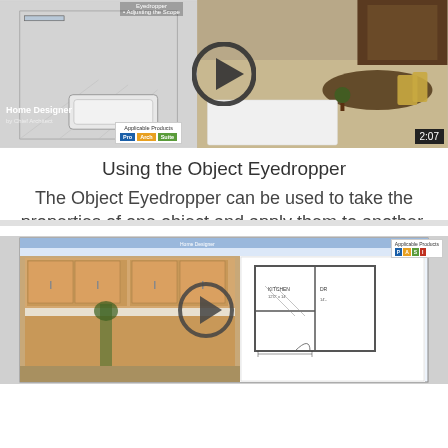[Figure (screenshot): Video thumbnail for 'Using the Object Eyedropper' showing a 3D room design in Home Designer software with a play button overlay and 2:07 duration. Applicable products: Pro, Arch, Suite.]
Using the Object Eyedropper
The Object Eyedropper can be used to take the properties of one object and apply them to another.
Video No. 2320
[Figure (screenshot): Video thumbnail for a second Home Designer video showing a 3D kitchen interior and floor plan with a play button overlay. Applicable products shown in top right.]